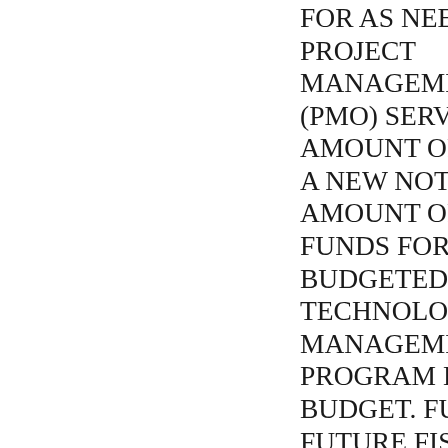FOR AS NEEDED PROJECT MANAGEMENT OFFICE (PMO) SERVICES IN AN AMOUNT OF $XXX FOR A NEW NOT TO EXCEED AMOUNT OF $XXX. FUNDS FOR FY23 ARE BUDGETED IN THE TECHNOLOGY MANAGEMENT PROGRAM EXPENSE BUDGET. FUNDS FOR FUTURE FISCAL YEARS WILL BE BUDGETED IN THE APPROPRIATE FISCAL YEAR, SUBJECT TO BOARD APPROVAL UPON THE ADOPTION OF EACH FISCAL YEAR'S BUDGET. The Board will consider staff's request to continue this item to